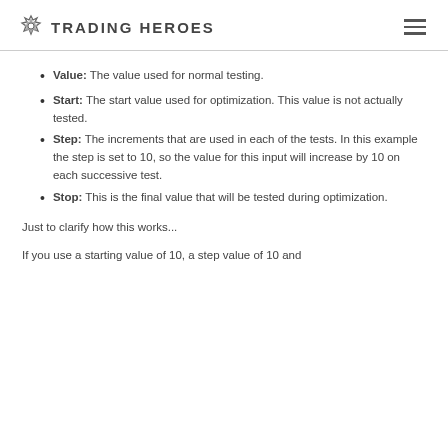TRADING HEROES
Value: The value used for normal testing.
Start: The start value used for optimization. This value is not actually tested.
Step: The increments that are used in each of the tests. In this example the step is set to 10, so the value for this input will increase by 10 on each successive test.
Stop: This is the final value that will be tested during optimization.
Just to clarify how this works...
If you use a starting value of 10, a step value of 10 and